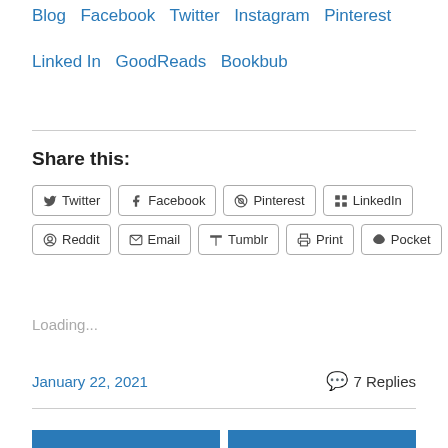Blog  Facebook  Twitter  Instagram  Pinterest
Linked In  GoodReads  Bookbub
Share this:
Twitter  Facebook  Pinterest  LinkedIn  Reddit  Email  Tumblr  Print  Pocket
Loading...
January 22, 2021
7 Replies